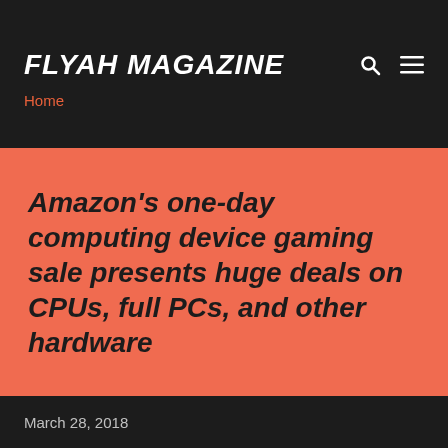FLYAH MAGAZINE
Home
Amazon's one-day computing device gaming sale presents huge deals on CPUs, full PCs, and other hardware
March 28, 2018